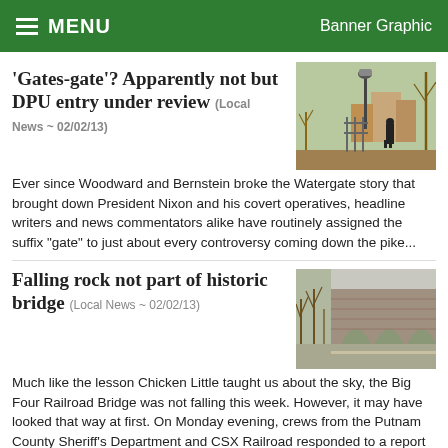MENU   Banner Graphic
'Gates-gate'? Apparently not but DPU entry under review
(Local News ~ 02/02/13)
[Figure (photo): Outdoor scene with lamp post, person, and park structures]
Ever since Woodward and Bernstein broke the Watergate story that brought down President Nixon and his covert operatives, headline writers and news commentators alike have routinely assigned the suffix "gate" to just about every controversy coming down the pike...
Falling rock not part of historic bridge
(Local News ~ 02/02/13)
[Figure (photo): Stone arch bridge in winter with bare trees]
Much like the lesson Chicken Little taught us about the sky, the Big Four Railroad Bridge was not falling this week. However, it may have looked that way at first. On Monday evening, crews from the Putnam County Sheriff's Department and CSX Railroad responded to a report of chunks of either rock or concrete in the middle of County Road 500 West, which runs beneath one of the Madison Township bridge's three large arches...